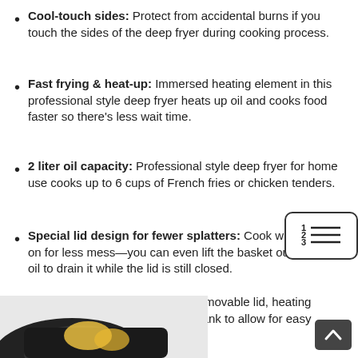Cool-touch sides: Protect from accidental burns if you touch the sides of the deep fryer during cooking process.
Fast frying & heat-up: Immersed heating element in this professional style deep fryer heats up oil and cooks food faster so there’s less wait time.
2 liter oil capacity: Professional style deep fryer for home use cooks up to 6 cups of French fries or chicken tenders.
Special lid design for fewer splatters: Cook with the lid on for less mess—you can even lift the basket out of the oil to drain it while the lid is still closed.
Easy cleanup: Deep fryer has removable lid, heating element, and enamel-coated oil tank to allow for easy cleanup.
[Figure (illustration): A numbered list / table-of-contents icon showing lines 1, 2, 3 with horizontal rules, inside a rounded rectangle border.]
[Figure (photo): Partial product photo of a deep fryer with food visible at the bottom of the page.]
[Figure (other): Dark back-to-top button with an upward chevron arrow in the bottom right corner.]